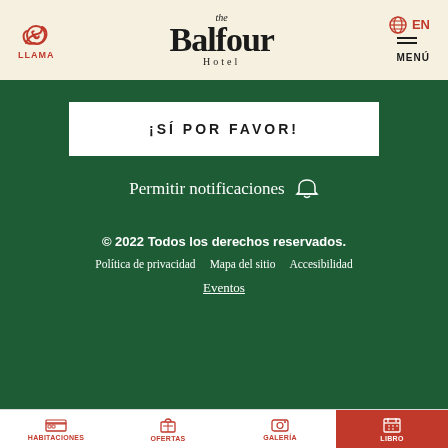[Figure (screenshot): The Balfour Hotel website header with phone icon labeled LLAMA, centered logo reading 'the Balfour Hotel', and language/menu controls on the right showing globe icon, EN, and MENÚ]
¡SÍ POR FAVOR!
Permitir notificaciones 🔔
© 2022 Todos los derechos reservados.
Política de privacidad   Mapa del sitio   Accesibilidad
Eventos
[Figure (screenshot): Bottom navigation bar with four items: HABITACIONES (bed icon), OFERTAS (gift icon), GALERÍA (camera icon), LIBRO (calendar icon, active/highlighted in red-orange)]